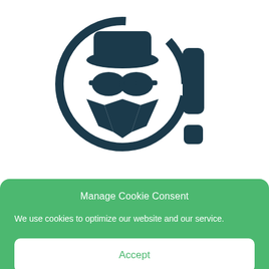[Figure (logo): A spy/detective icon showing a figure with a fedora hat and sunglasses inside a circle, with an exclamation mark to the right, rendered in dark navy/teal color]
Best Fraud Detection Software for Seniors (Discounts)
Manage Cookie Consent
We use cookies to optimize our website and our service.
Accept